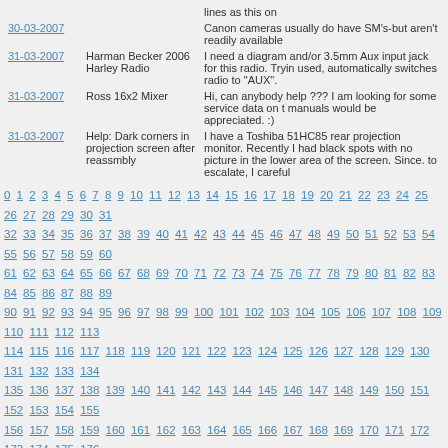| Date | Title | Description |
| --- | --- | --- |
|  |  | lines as this on |
| 30-03-2007 |  | Canon cameras usually do have SM's-but aren't readily available |
| 31-03-2007 | Harman Becker 2006 Harley Radio | I need a diagram and/or 3.5mm Aux input jack for this radio. Tryin used, automatically switches radio to "AUX". |
| 31-03-2007 | Ross 16x2 Mixer | Hi, can anybody help ??? I am looking for some service data on t manuals would be appreciated. :) |
| 31-03-2007 | Help: Dark corners in projection screen after reassmbly | I have a Toshiba 51HC85 rear projection monitor. Recently I had black spots with no picture in the lower area of the screen. Since. to escalate, I careful |
0 1 2 3 4 5 6 7 8 9 10 11 12 13 14 15 16 17 18 19 20 21 22 23 24 25 26 27 28 29 30 31 32 33 34 35 36 37 38 39 40 41 42 43 44 45 46 47 48 49 50 51 52 53 54 55 56 57 58 59 60 61 62 63 64 65 66 67 68 69 70 71 72 73 74 75 76 77 78 79 80 81 82 83 84 85 86 87 88 89 90 91 92 93 94 95 96 97 98 99 100 101 102 103 104 105 106 107 108 109 110 111 112 113 114 115 116 117 118 119 120 121 122 123 124 125 126 127 128 129 130 131 132 133 134 135 136 137 138 139 140 141 142 143 144 145 146 147 148 149 150 151 152 153 154 155 156 157 158 159 160 161 162 163 164 165 166 167 168 169 170 171 172 173 174 175 176 177 178 179 180 181 182 183 184 185 186 187 188 189 190 191 192 193 194 195 196 197 198 199 200 201 202 203 204 205 206 207 208 209 210 211 212 213 214 215 216 217 218 219 220 221 222 223 224 225 226 227 228 229 230 231 232 233 234 235 236 237 238 239 240 241 242 243 244 245 246 247 248 249 250 251 252 253 254 255 256 257 258 259 260 261 262 263 264 265 266 267 268 269 270 271 272 273 274 275 276 277 278 279 280 281 282 283 284 285 286 287 288 289 290 291 292 293 294 295 296 297 298 299 300 301 302 303 304 305 306 307 308 309 310 311 312 313 314 315 316 317 318 319 320 321 322 323 324 325 326 327 328 329 330 331 332 333 334 335 336 337 338 339 340 341 342 343 344 345 346 347 348 349 350 351 352 353 354 355 356 357 358 359 360 361 362 363 364 365 366 367 368 369 370 371 372 373 374 375 376 377 378 379 380 381 382 383 384 385 386 387 388 389 390 391 392 393 394 395 396 397 398 399 400 401 402 403 404 405 406 407